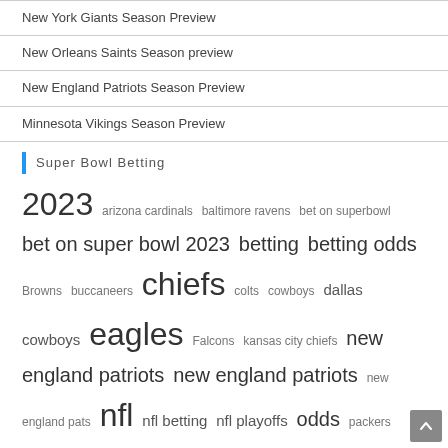New York Giants Season Preview
New Orleans Saints Season preview
New England Patriots Season Preview
Minnesota Vikings Season Preview
Super Bowl Betting
2023 arizona cardinals baltimore ravens bet on superbowl bet on super bowl 2023 betting betting odds Browns buccaneers chiefs colts cowboys dallas cowboys eagles Falcons kansas city chiefs new england patriots new england patriots new england pats nfl nfl betting nfl playoffs odds packers patriots patriots philadelphia eagles pittsburgh steelers rams